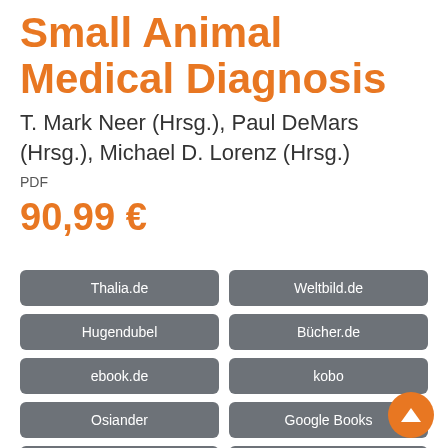Small Animal Medical Diagnosis
T. Mark Neer (Hrsg.), Paul DeMars (Hrsg.), Michael D. Lorenz (Hrsg.)
PDF
90,99 €
Thalia.de
Weltbild.de
Hugendubel
Bücher.de
ebook.de
kobo
Osiander
Google Books
Barnes&Noble
bol.com
Legimi
yourbook.shop